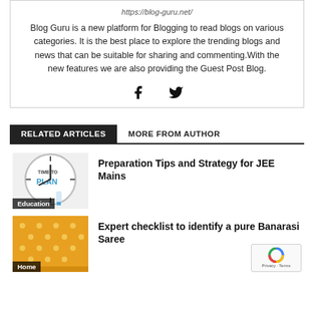https://blog-guru.net/
Blog Guru is a new platform for Blogging to read blogs on various categories. It is the best place to explore the trending blogs and news that can be suitable for sharing and commenting.With the new features we are also providing the Guest Post Blog.
[Figure (illustration): Social media icons: Facebook (f) and Twitter bird icon]
RELATED ARTICLES   MORE FROM AUTHOR
[Figure (photo): Clock with 'TIME TO PLAN' text and a hand writing 'PLAN' in blue marker. Education label.]
Preparation Tips and Strategy for JEE Mains
[Figure (photo): Yellow/golden Banarasi saree fabric with gold dot pattern. Home label.]
Expert checklist to identify a pure Banarasi Saree